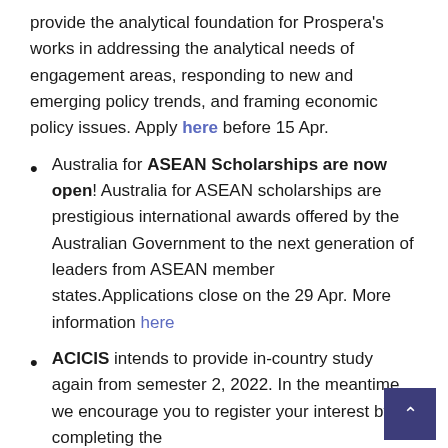provide the analytical foundation for Prospera's works in addressing the analytical needs of engagement areas, responding to new and emerging policy trends, and framing economic policy issues. Apply here before 15 Apr.
Australia for ASEAN Scholarships are now open! Australia for ASEAN scholarships are prestigious international awards offered by the Australian Government to the next generation of leaders from ASEAN member states.Applications close on the 29 Apr. More information here
ACICIS intends to provide in-country study again from semester 2, 2022. In the meantime, we encourage you to register your interest by completing the